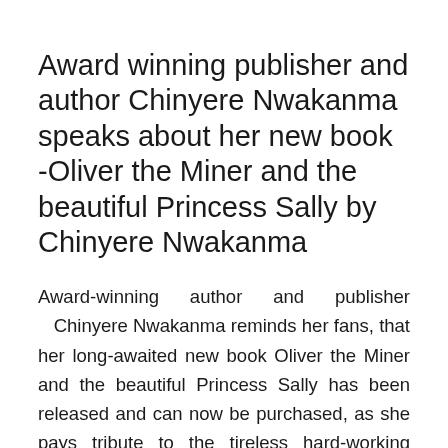Award winning publisher and author Chinyere Nwakanma speaks about her new book -Oliver the Miner and the beautiful Princess Sally by Chinyere Nwakanma
Award-winning author and publisher Chinyere Nwakanma reminds her fans, that her long-awaited new book Oliver the Miner and the beautiful Princess Sally has been released and can now be purchased, as she pays tribute to the tireless hard-working warehouse workers across the country. According to the 2021 winner of the U. K Innovation and Excellence Award in publishing, children love and are fascinated by the tales